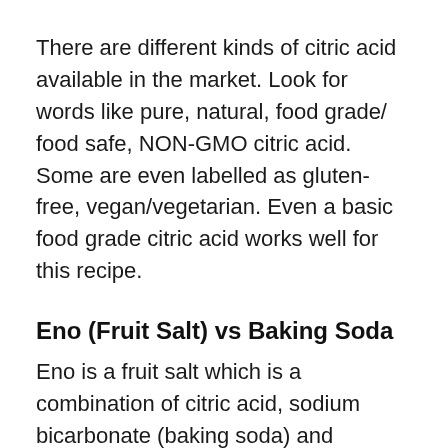There are different kinds of citric acid available in the market. Look for words like pure, natural, food grade/ food safe, NON-GMO citric acid. Some are even labelled as gluten-free, vegan/vegetarian. Even a basic food grade citric acid works well for this recipe.
Eno (Fruit Salt) vs Baking Soda
Eno is a fruit salt which is a combination of citric acid, sodium bicarbonate (baking soda) and additives. It is the same as using citric acid and sodium bicarbonate minus